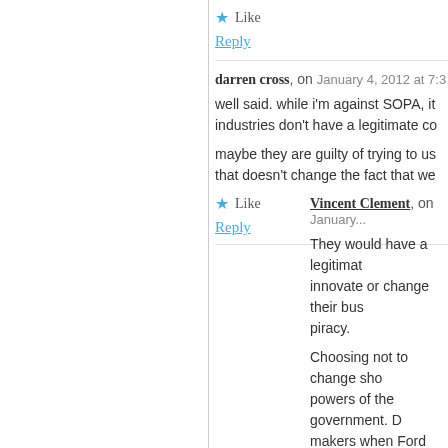Like
Reply
darren cross, on January 4, 2012 at 7:...
well said. while i'm against SOPA, it industries don't have a legitimate co...
maybe they are guilty of trying to us... that doesn't change the fact that we...
Like
Reply
Vincent Clement, on January...
They would have a legitimate... innovate or change their bus... piracy.
Choosing not to change sho... powers of the government. D... makers when Ford introduce...
Like
Reply